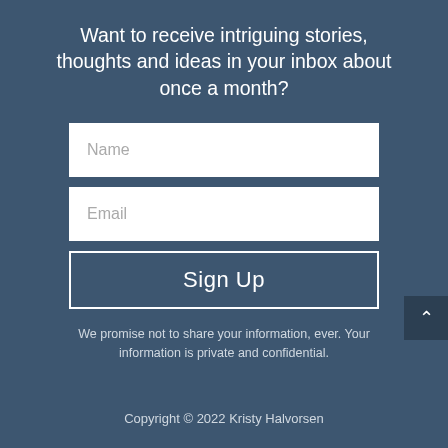Want to receive intriguing stories, thoughts and ideas in your inbox about once a month?
[Figure (screenshot): Email signup form with Name input field, Email input field, and Sign Up button on a dark blue background]
We promise not to share your information, ever. Your information is private and confidential.
Copyright © 2022 Kristy Halvorsen